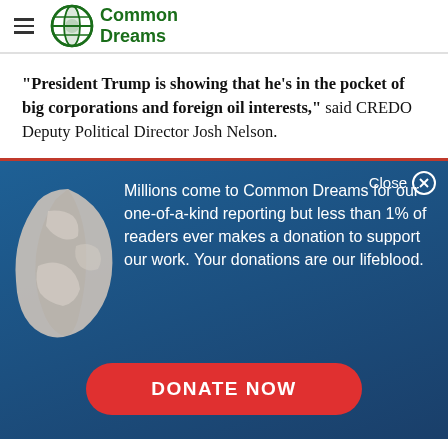Common Dreams
“President Trump is showing that he’s in the pocket of big corporations and foreign oil interests,” said CREDO Deputy Political Director Josh Nelson.
[Figure (infographic): Donation overlay panel with globe illustration showing text: Millions come to Common Dreams for our one-of-a-kind reporting but less than 1% of readers ever makes a donation to support our work. Your donations are our lifeblood. With a DONATE NOW button.]